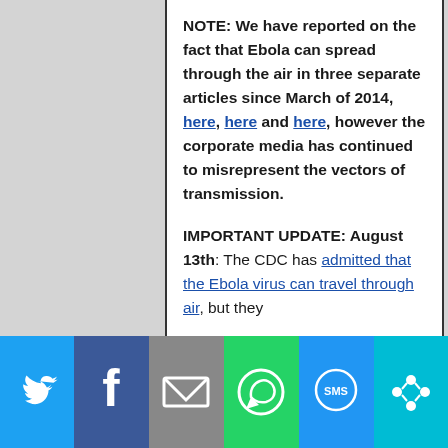NOTE: We have reported on the fact that Ebola can spread through the air in three separate articles since March of 2014, here, here and here, however the corporate media has continued to misrepresent the vectors of transmission.
IMPORTANT UPDATE: August 13th: The CDC has admitted that the Ebola virus can travel through air, but they
[Figure (other): Social media sharing bar with buttons: Twitter (blue), Facebook (dark blue), Email (gray), WhatsApp (green), SMS (blue), More (teal)]